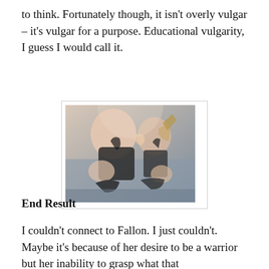to think. Fortunately though, it isn't overly vulgar – it's vulgar for a purpose. Educational vulgarity, I guess I would call it.
[Figure (photo): Close-up image of a fantasy game character in dark armor with exposed skin and fantasy accessories, resembling a character from a video game.]
End Result
I couldn't connect to Fallon. I just couldn't. Maybe it's because of her desire to be a warrior but her inability to grasp what that